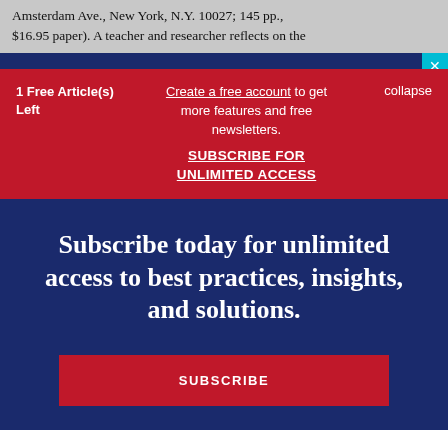Amsterdam Ave., New York, N.Y. 10027; 145 pp., $16.95 paper). A teacher and researcher reflects on the
1 Free Article(s) Left
Create a free account to get more features and free newsletters. SUBSCRIBE FOR UNLIMITED ACCESS
collapse
Subscribe today for unlimited access to best practices, insights, and solutions.
SUBSCRIBE